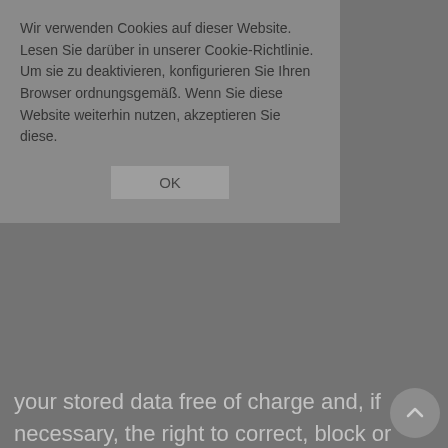Wir verwenden Cookies auf dieser Website. Lesen Sie darüber in unserer Cookie-Richtlinie. Um sie zu deaktivieren, konfigurieren Sie Ihren Browser ordnungsgemäß. Wenn Sie diese Website weiterhin nutzen, akzeptieren Sie diese.
OK
your stored data free of charge and, if necessary, the right to correct, block or delete this data (office@goldschmied-primus.at).
Email Advertising (with newsletter registration)
If you have registered separately for the newsletter, your e-mail address will be used for our own advertising purposes until you unsubscribe from the newsletter. You can